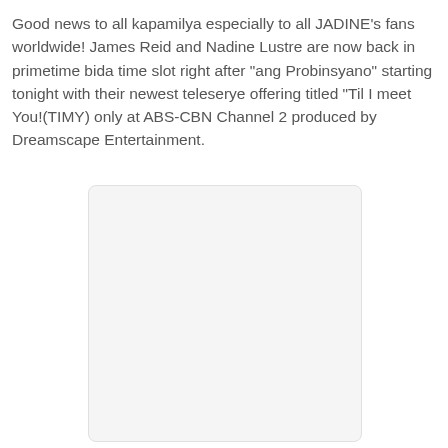Good news to all kapamilya especially to all JADINE's fans worldwide! James Reid and Nadine Lustre are now back in primetime bida time slot right after "ang Probinsyano" starting tonight with their newest teleserye offering titled "Til I meet You!(TIMY) only at ABS-CBN Channel 2 produced by Dreamscape Entertainment.
[Figure (other): Blank/white image placeholder with rounded corners and light gray border]